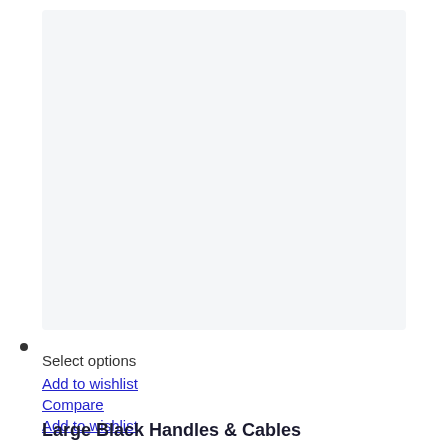[Figure (photo): Product image placeholder area, light gray background]
•
Select options
Add to wishlist
Compare
Add to wishlist
Large Black Handles & Cables